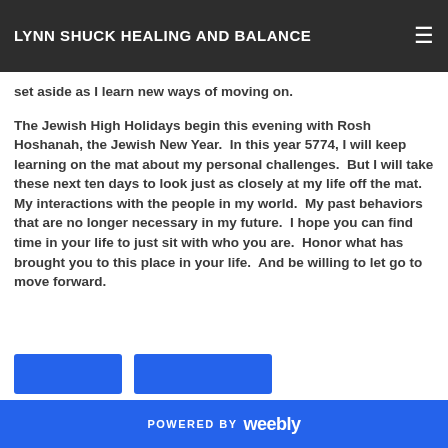LYNN SHUCK HEALING AND BALANCE
figuring out what to use next on the path to this place. I can see my past as something to set aside as I learn new ways of moving on.
The Jewish High Holidays begin this evening with Rosh Hoshanah, the Jewish New Year.  In this year 5774, I will keep learning on the mat about my personal challenges.  But I will take these next ten days to look just as closely at my life off the mat.  My interactions with the people in my world.  My past behaviors that are no longer necessary in my future.  I hope you can find time in your life to just sit with who you are.  Honor what has brought you to this place in your life.  And be willing to let go to move forward.
POWERED BY weebly